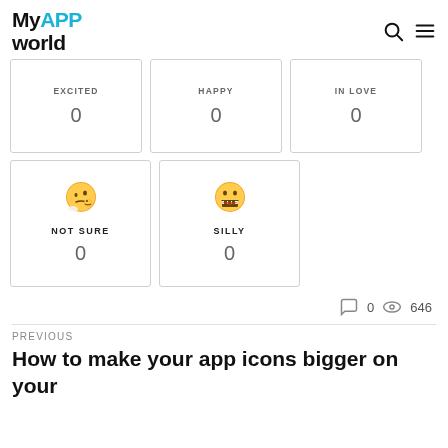MyAPPworld
EXCITED 0
HAPPY 0
IN LOVE 0
[Figure (illustration): Thinking face emoji (NOT SURE)]
NOT SURE 0
[Figure (illustration): Grinning face with big teeth emoji (SILLY)]
SILLY 0
0 comments, 646 views
PREVIOUS
How to make your app icons bigger on your